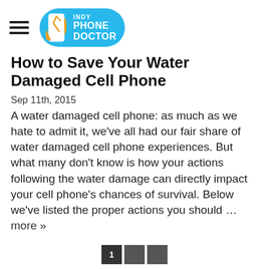[Figure (logo): Indy Phone Doctor logo — a teal/blue oval with a phone icon on the left and text INDY PHONE DOCTOR on the right. A hamburger menu icon (three horizontal lines) appears to the left of the logo.]
How to Save Your Water Damaged Cell Phone
Sep 11th, 2015
A water damaged cell phone: as much as we hate to admit it, we've all had our fair share of water damaged cell phone experiences. But what many don't know is how your actions following the water damage can directly impact your cell phone's chances of survival. Below we've listed the proper actions you should … more »